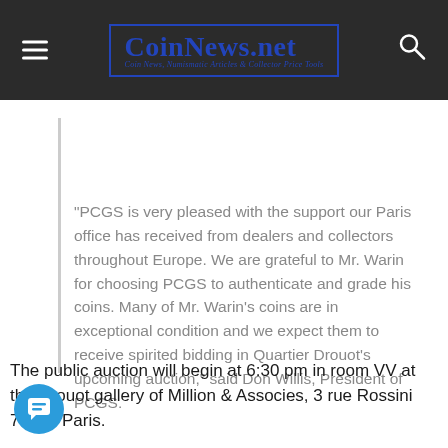CoinNews.net — Coin News, Numismatic Articles & Collector Price Tools
"PCGS is very pleased with the support our Paris office has received from dealers and collectors throughout Europe. We are grateful to Mr. Warin for choosing PCGS to authenticate and grade his coins. Many of Mr. Warin's coins are in exceptional condition and we expect them to receive spirited bidding in Quartier Drouot's upcoming auction," said Don Willis, President of PCGS.
The public auction will begin at 6:30 pm in room VV at the Drouot gallery of Million & Associes, 3 rue Rossini 75009 Paris.